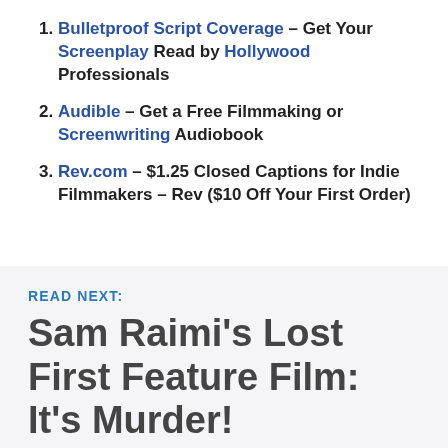Bulletproof Script Coverage – Get Your Screenplay Read by Hollywood Professionals
Audible – Get a Free Filmmaking or Screenwriting Audiobook
Rev.com – $1.25 Closed Captions for Indie Filmmakers – Rev ($10 Off Your First Order)
READ NEXT:
Sam Raimi's Lost First Feature Film: It's Murder!